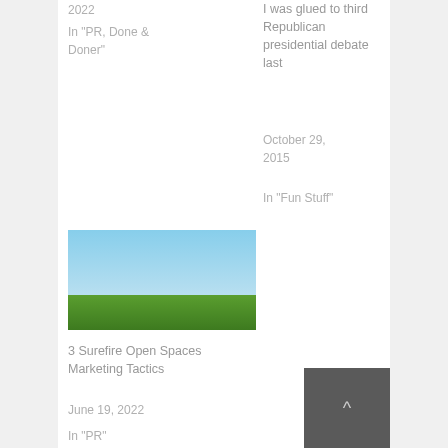2022
In 'PR, Done & Doner'
I was glued to third Republican presidential debate last
October 29, 2015
In 'Fun Stuff'
[Figure (photo): Landscape photo showing green grass field under a clear blue sky]
3 Surefire Open Spaces Marketing Tactics
June 19, 2022
In 'PR'